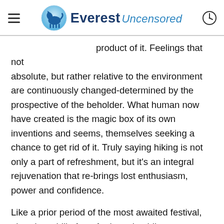Everest Uncensored
product of it. Feelings that not absolute, but rather relative to the environment are continuously changed-determined by the prospective of the beholder. What human now have created is the magic box of its own inventions and seems, themselves seeking a chance to get rid of it. Truly saying hiking is not only a part of refreshment, but it's an integral rejuvenation that re-brings lost enthusiasm, power and confidence.
Like a prior period of the most awaited festival, already a chill of our forthcoming hike was ascended in our blood. I already started to smell its aroma early in the afternoon of Friday-28-12-014, after I was there in the final list of hikers. The chosen route was Sundarijal to Shivapuri